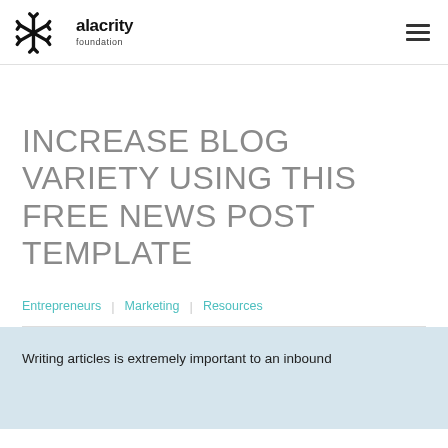alacrity foundation
INCREASE BLOG VARIETY USING THIS FREE NEWS POST TEMPLATE
Entrepreneurs | Marketing | Resources
Writing articles is extremely important to an inbound